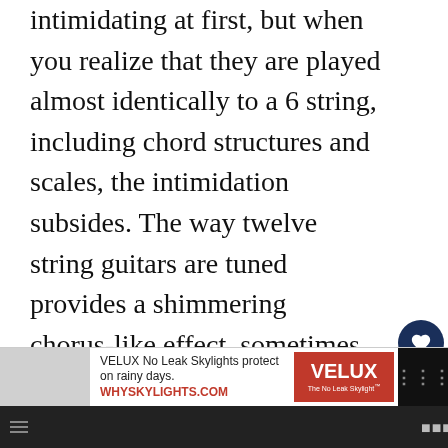intimidating at first, but when you realize that they are played almost identically to a 6 string, including chord structures and scales, the intimidation subsides. The way twelve string guitars are tuned provides a shimmering chorus-like effect, sometimes referred to as the “jingle-jangle” sound.
These instruments do so much more than jingle jangle, though. Twelve string guitars have a full tonal range, from bright and shimmering, through to warm, mellow sounds. Some of the most iconic songs in
[Figure (screenshot): Advertisement banner: VELUX No Leak Skylights protect on rainy days. WHYSKYLIGHTS.COM with VELUX logo and The No Leak Skylight tagline]